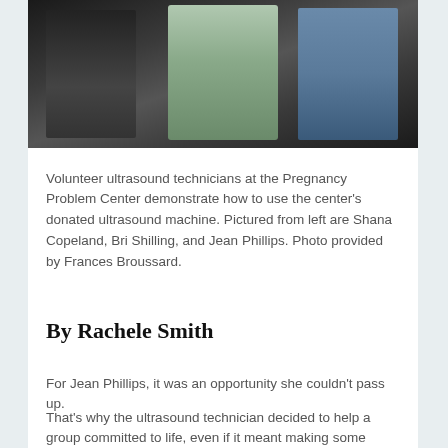[Figure (photo): Three people around an ultrasound machine in a clinical setting. Person on left in dark clothing, person in center operating the machine, person on right in blue denim shirt.]
Volunteer ultrasound technicians at the Pregnancy Problem Center demonstrate how to use the center's donated ultrasound machine. Pictured from left are Shana Copeland, Bri Shilling, and Jean Phillips. Photo provided by Frances Broussard.
By Rachele Smith
For Jean Phillips, it was an opportunity she couldn't pass up.
That's why the ultrasound technician decided to help a group committed to life, even if it meant making some sacrifices of her own.